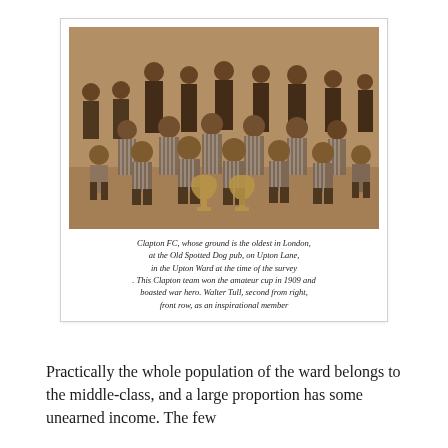[Figure (photo): Sepia-toned historical photograph of the Clapton FC football team, posing in rows with two trophies in front. Players in striped jerseys seated in front row, officials in suits standing behind.]
Clapton FC, whose ground is the oldest in London, at the Old Spotted Dog pub, on Upton Lane, in the Upton Ward at the time of the survey . This Clapton team won the amateur cup in 1909 and boasted war hero. Walter Tull, second from right, front row, as an inspirational member
Practically the whole population of the ward belongs to the middle-class, and a large proportion has some unearned income. The few